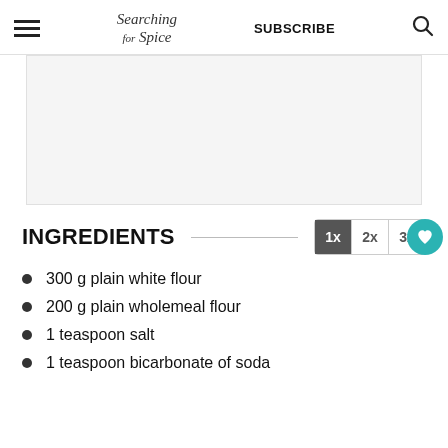Searching for Spice | SUBSCRIBE
[Figure (other): Gray advertisement placeholder box]
INGREDIENTS
300 g plain white flour
200 g plain wholemeal flour
1 teaspoon salt
1 teaspoon bicarbonate of soda